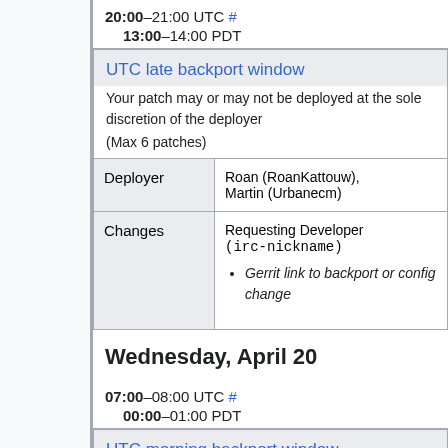20:00–21:00 UTC # / 13:00–14:00 PDT
| UTC late backport window | Your patch may or may not be deployed at the sole discretion of the deployer (Max 6 patches) |
| Deployer | Roan (RoanKattouw), Martin (Urbanecm) |
| Changes | Requesting Developer (irc-nickname)
• Gerrit link to backport or config change |
Wednesday, April 20
07:00–08:00 UTC # / 00:00–01:00 PDT
UTC morning backport window